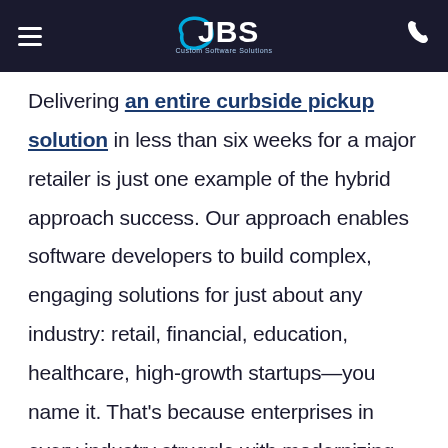JBS Custom Software Solutions
Delivering an entire curbside pickup solution in less than six weeks for a major retailer is just one example of the hybrid approach success. Our approach enables software developers to build complex, engaging solutions for just about any industry: retail, financial, education, healthcare, high-growth startups—you name it. That's because enterprises in every industry struggle with modernizing infrastructures that are based on monolithic systems.